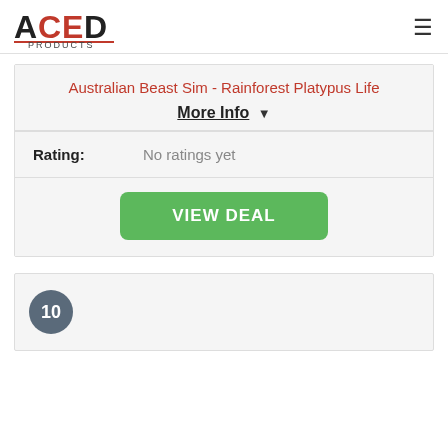ACED PRODUCTS
Australian Beast Sim - Rainforest Platypus Life
More Info ▼
| Rating: | No ratings yet |
| --- | --- |
VIEW DEAL
10